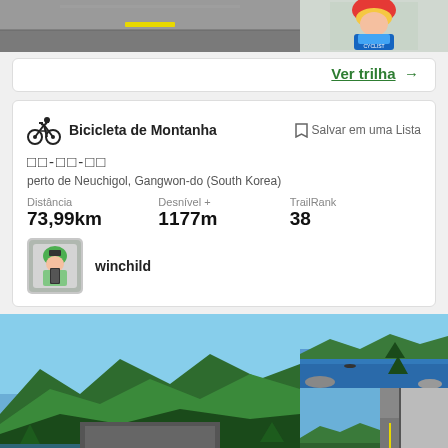[Figure (photo): Top banner: left side shows a road/asphalt aerial view, right side shows a person in cycling gear]
Ver trilha →
[Figure (infographic): Trail card showing mountain biking trail info near Neuchigol, Gangwon-do, South Korea with distance 73,99km, elevation 1177m, TrailRank 38, by user winchild]
[Figure (photo): Bottom photos: large mountain landscape with dam/reservoir, smaller reservoir photo top right, sky photo and road photo bottom right]